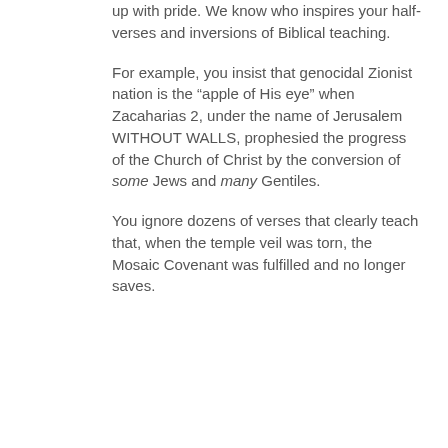up with pride. We know who inspires your half-verses and inversions of Biblical teaching.
For example, you insist that genocidal Zionist nation is the “apple of His eye” when Zacaharias 2, under the name of Jerusalem WITHOUT WALLS, prophesied the progress of the Church of Christ by the conversion of some Jews and many Gentiles.
You ignore dozens of verses that clearly teach that, when the temple veil was torn, the Mosaic Covenant was fulfilled and no longer saves.